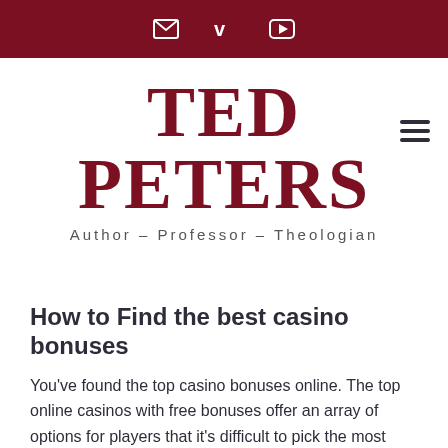[Email] [Vimeo] [YouTube] icons
TED PETERS
Author – Professor – Theologian
How to Find the best casino bonuses
You've found the top casino bonuses online. The top online casinos with free bonuses offer an array of options for players that it's difficult to pick the most suitable ones for your particular needs. This is why we've devoted this article to helping you find the top online casinos that offer the most